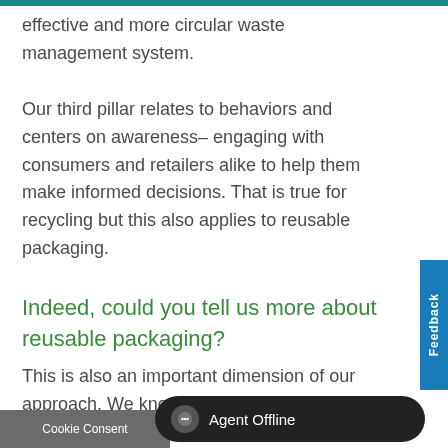effective and more circular waste management system.
Our third pillar relates to behaviors and centers on awareness– engaging with consumers and retailers alike to help them make informed decisions. That is true for recycling but this also applies to reusable packaging.
Indeed, could you tell us more about reusable packaging?
This is also an important dimension of our approach. We know that 100% reusability... ough. Our R&D... to returnable/reusable...